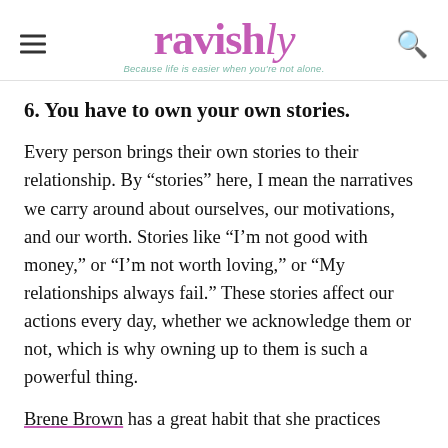ravishly — Because life is easier when you're not alone.
6. You have to own your own stories.
Every person brings their own stories to their relationship. By “stories” here, I mean the narratives we carry around about ourselves, our motivations, and our worth. Stories like “I’m not good with money,” or “I’m not worth loving,” or “My relationships always fail.” These stories affect our actions every day, whether we acknowledge them or not, which is why owning up to them is such a powerful thing.
Brene Brown has a great habit that she practices